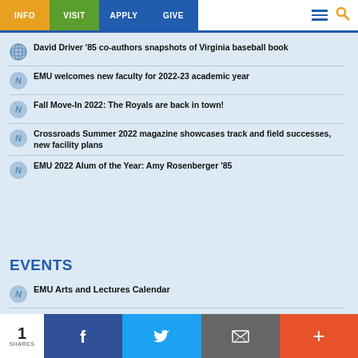INFO | VISIT | APPLY | GIVE
David Driver '85 co-authors snapshots of Virginia baseball book
EMU welcomes new faculty for 2022-23 academic year
Fall Move-In 2022: The Royals are back in town!
Crossroads Summer 2022 magazine showcases track and field successes, new facility plans
EMU 2022 Alum of the Year: Amy Rosenberger '85
EVENTS
EMU Arts and Lectures Calendar
1 SHARES